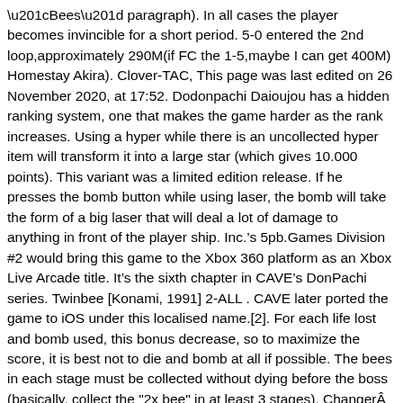“Bees” paragraph). In all cases the player becomes invincible for a short period. 5-0 entered the 2nd loop,approximately 290M(if FC the 1-5,maybe I can get 400M) Homestay Akira). Clover-TAC, This page was last edited on 26 November 2020, at 17:52. Dodonpachi Daioujou has a hidden ranking system, one that makes the game harder as the rank increases. Using a hyper while there is an uncollected hyper item will transform it into a large star (which gives 10.000 points). This variant was a limited edition release. If he presses the bomb button while using laser, the bomb will take the form of a big laser that will deal a lot of damage to anything in front of the player ship. Inc.’s 5pb.Games Division #2 would bring this game to the Xbox 360 platform as an Xbox Live Arcade title. It’s the sixth chapter in CAVE’s DonPachi series. Twinbee [Konami, 1991] 2-ALL . CAVE later ported the game to iOS under this localised name.[2]. For each life lost and bomb used, this bonus decrease, so to maximize the score, it is best not to die and bomb at all if possible. The bees in each stage must be collected without dying before the boss (basically, collect the "2x bee" in at least 3 stages). ChangerÂ ). I have written a guide about getting good at shmups. Survival. Stage 1 may not be the best as it differs quite a lot from Black Label. A doll is chosen after a fighter type is selected.